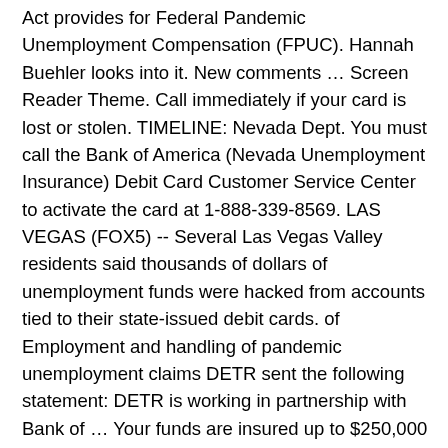Act provides for Federal Pandemic Unemployment Compensation (FPUC). Hannah Buehler looks into it. New comments … Screen Reader Theme. Call immediately if your card is lost or stolen. TIMELINE: Nevada Dept. You must call the Bank of America (Nevada Unemployment Insurance) Debit Card Customer Service Center to activate the card at 1-888-339-8569. LAS VEGAS (FOX5) -- Several Las Vegas Valley residents said thousands of dollars of unemployment funds were hacked from accounts tied to their state-issued debit cards. of Employment and handling of pandemic unemployment claims DETR sent the following statement: DETR is working in partnership with Bank of … Your funds are insured up to $250,000 by the FDIC in the event Bank of America, N.A. hide . File a PUA Claim. Under FPUC, eligible individuals will receive an additional $600 per week in addition to their weekly benefit amount from another unemployment compensation program. Nevada Pandemic Unemployment Assistance program: 1-800-603-9681 Technical Support: (775) 684-0427 (8:00 am to 5:00 pm Pacific T Tech support